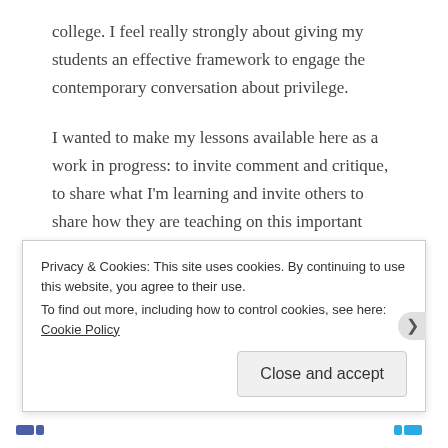college. I feel really strongly about giving my students an effective framework to engage the contemporary conversation about privilege.
I wanted to make my lessons available here as a work in progress: to invite comment and critique, to share what I’m learning and invite others to share how they are teaching on this important issue.
I’m drawing heavily on “Connecting with Oppression and Privilege: A Pedagogy for Social
Privacy & Cookies: This site uses cookies. By continuing to use this website, you agree to their use.
To find out more, including how to control cookies, see here: Cookie Policy